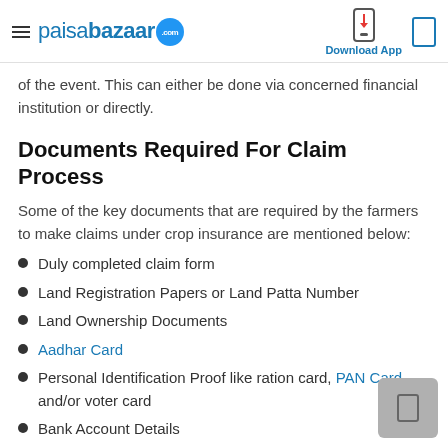paisabazaar.com | Download App
of the event. This can either be done via concerned financial institution or directly.
Documents Required For Claim Process
Some of the key documents that are required by the farmers to make claims under crop insurance are mentioned below:
Duly completed claim form
Land Registration Papers or Land Patta Number
Land Ownership Documents
Aadhar Card
Personal Identification Proof like ration card, PAN Card, and/or voter card
Bank Account Details
Sowing Declaration